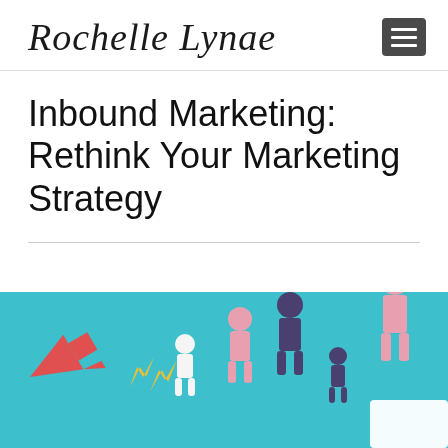Rochelle Lynae
Inbound Marketing: Rethink Your Marketing Strategy
[Figure (illustration): Inbound marketing infographic on teal/turquoise background showing stylized human figures of varying sizes in pink and dark purple/navy, a red megaphone with lightning bolts, suggesting audience growth and marketing outreach.]